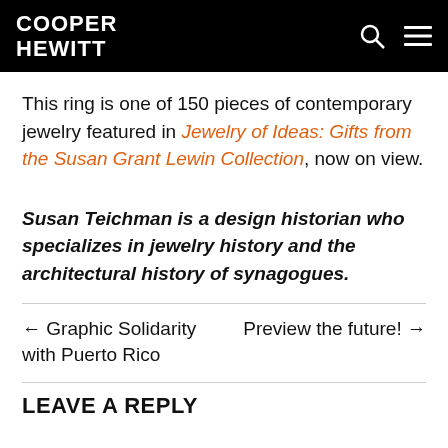COOPER HEWITT
This ring is one of 150 pieces of contemporary jewelry featured in Jewelry of Ideas: Gifts from the Susan Grant Lewin Collection, now on view.
Susan Teichman is a design historian who specializes in jewelry history and the architectural history of synagogues.
← Graphic Solidarity with Puerto Rico
Preview the future! →
LEAVE A REPLY